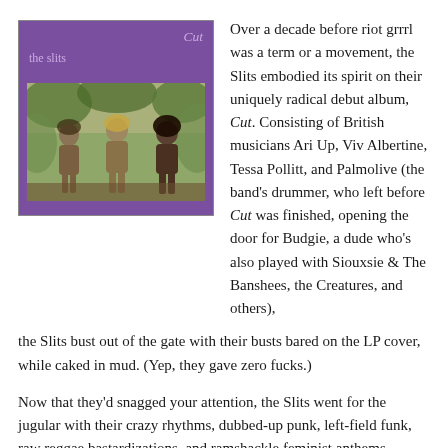[Figure (photo): Album cover of 'Cut' by The Slits. Purple background with 'Cut' in italic text top-right and 'the slits' text top-left. Photo of three women caked in mud posing topless in a natural outdoor setting.]
Over a decade before riot grrrl was a term or a movement, the Slits embodied its spirit on their uniquely radical debut album, Cut. Consisting of British musicians Ari Up, Viv Albertine, Tessa Pollitt, and Palmolive (the band's drummer, who left before Cut was finished, opening the door for Budgie, a dude who's also played with Siouxsie & The Banshees, the Creatures, and others), the Slits bust out of the gate with their busts bared on the LP cover, while caked in mud. (Yep, they gave zero fucks.)
Now that they'd snagged your attention, the Slits went for the jugular with their crazy rhythms, dubbed-up punk, left-field funk, raw reggae bastardizations, and ramshackle feminist anthems. Credit should also go to producer Dennis Bovell, whose aptitude at the console made these unlikely elements cohere into a vivid collection of sonic sucker punches that makes you feel wonderfully woozy.